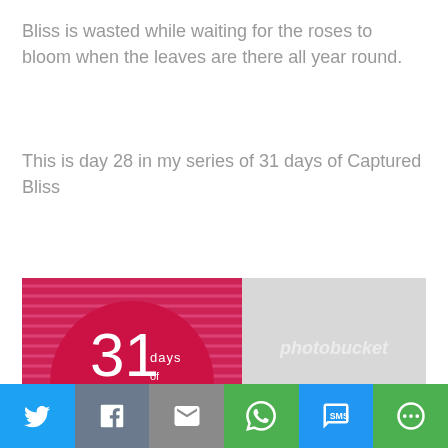Bliss is wasted while waiting for the roses to bloom when the leaves are there all year round.
This is day 28 in my series of 31 days of Captured Bliss
[Figure (infographic): 31 days of captured bliss graphic on left (red/pink circle with text on striped background) and photobucket watermarked image on right with text 'Click here to see all the posts in the 31 day series']
[Figure (infographic): Social sharing bar with Twitter, Facebook, Email, WhatsApp, SMS, and More buttons]